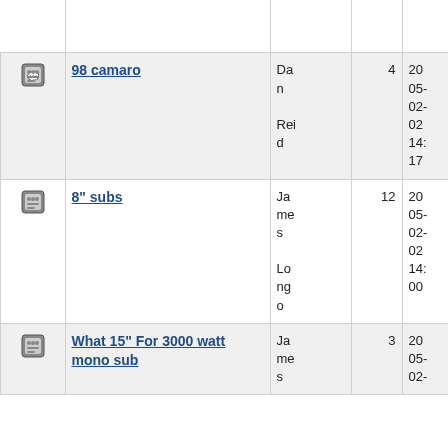|  | Topic | Author | Replies | Date |
| --- | --- | --- | --- | --- |
| [icon] |  |  |  | 16:
31 |
| [icon] | 98 camaro | Dan Reid | 4 | 2005-02-02 14:17 |
| [icon] | 8" subs | James Longo | 12 | 2005-02-02 14:00 |
| [icon] | What 15" For 3000 watt mono sub | James ... | 3 | 2005-02-... |